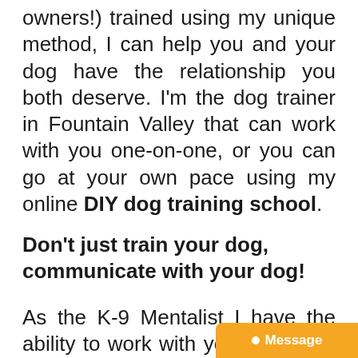owners!) trained using my unique method, I can help you and your dog have the relationship you both deserve. I'm the dog trainer in Fountain Valley that can work with you one-on-one, or you can go at your own pace using my online DIY dog training school.
Don't just train your dog, communicate with your dog!
As the K-9 Mentalist I have the ability to work with your dog on a physiological level. Dogs are very intelligent, and they care about people as much as people ca